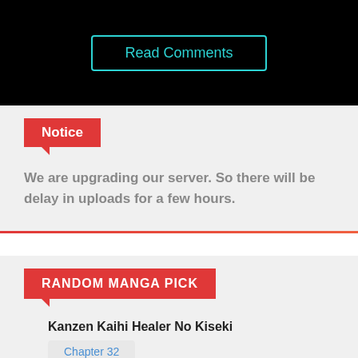Read Comments
Notice
We are upgrading our server. So there will be delay in uploads for a few hours.
RANDOM MANGA PICK
Kanzen Kaihi Healer No Kiseki
Chapter 32
Chapter 31